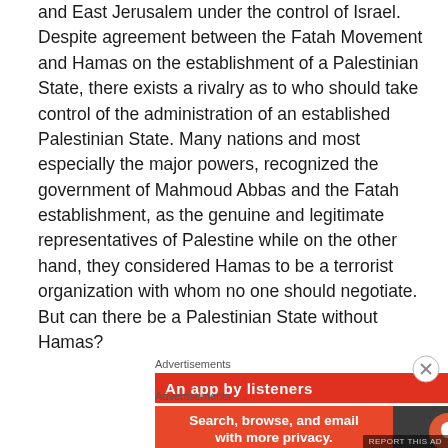and East Jerusalem under the control of Israel. Despite agreement between the Fatah Movement and Hamas on the establishment of a Palestinian State, there exists a rivalry as to who should take control of the administration of an established Palestinian State. Many nations and most especially the major powers, recognized the government of Mahmoud Abbas and the Fatah establishment, as the genuine and legitimate representatives of Palestine while on the other hand, they considered Hamas to be a terrorist organization with whom no one should negotiate. But can there be a Palestinian State without Hamas?
Advertisements
[Figure (infographic): Red advertisement banner with text 'An app by listeners' and a dark badge on the right with stylized text 'Dis...']
Advertisements
[Figure (infographic): DuckDuckGo advertisement: 'Search, browse, and email with more privacy. All in One Free App' with DuckDuckGo logo on dark background.]